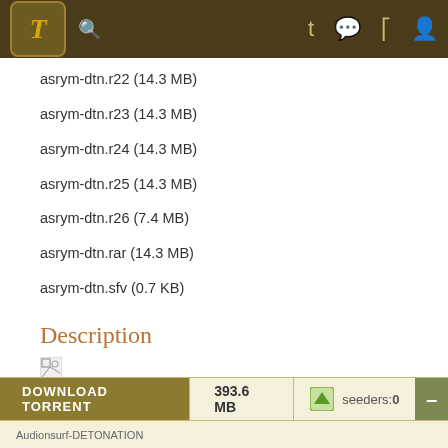Torrent site header with logo T, search icon, and navigation icons
asrym-dtn.r22 (14.3 MB)
asrym-dtn.r23 (14.3 MB)
asrym-dtn.r24 (14.3 MB)
asrym-dtn.r25 (14.3 MB)
asrym-dtn.r26 (7.4 MB)
asrym-dtn.rar (14.3 MB)
asrym-dtn.sfv (0.7 KB)
Description
[Figure (photo): Broken image placeholder]
Amusing game, everyone should give it a try!
DOWNLOAD TORRENT   393.6 MB   seeders:0   Audionsurf-DETONATION